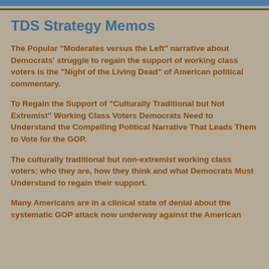TDS Strategy Memos
The Popular “Moderates versus the Left” narrative about Democrats’ struggle to regain the support of working class voters is the “Night of the Living Dead” of American political commentary.
To Regain the Support of “Culturally Traditional but Not Extremist” Working Class Voters Democrats Need to Understand the Compelling Political Narrative That Leads Them to Vote for the GOP.
The culturally traditional but non-extremist working class voters: who they are, how they think and what Democrats Must Understand to regain their support.
Many Americans are in a clinical state of denial about the systematic GOP attack now underway against the American